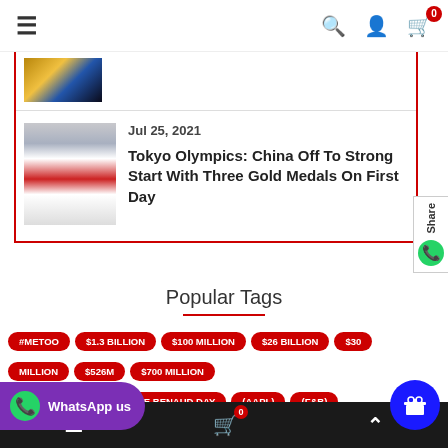Navigation bar with hamburger menu, search, user, and cart icons
[Figure (photo): Partially visible sports/Olympics photo thumbnail at top of card]
Jul 25, 2021
Tokyo Olympics: China Off To Strong Start With Three Gold Medals On First Day
[Figure (photo): Photo of Chinese Olympic athlete celebrating with gold medal, wearing red mask]
Popular Tags
#METOO
$1.3 BILLION
$100 MILLION
$26 BILLION
$30
MILLION
$526M
$700 MILLION
A GENTLE MAN
RICHIE BENAUD DAY
(AAPL)
(F&B)
Bottom navigation bar with hamburger, cart (0), and up arrow